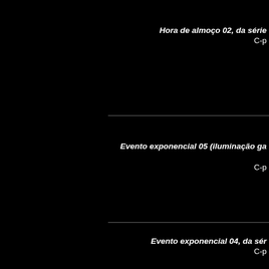Hora de almoço 02, da série
C-p
Evento exponencial 05 (iluminação ga
C-p
Evento exponencial 04, da sér
C-p